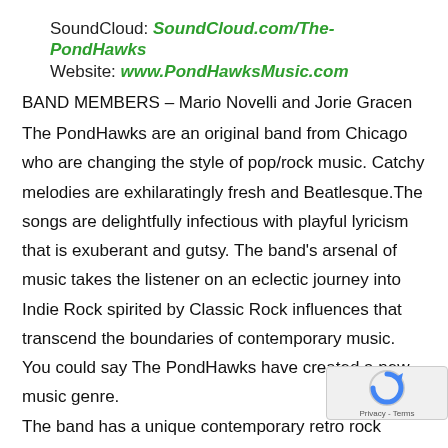SoundCloud: SoundCloud.com/The-PondHawks
Website: www.PondHawksMusic.com
BAND MEMBERS – Mario Novelli and Jorie Gracen
The PondHawks are an original band from Chicago who are changing the style of pop/rock music. Catchy melodies are exhilaratingly fresh and Beatlesque.The songs are delightfully infectious with playful lyricism that is exuberant and gutsy. The band's arsenal of music takes the listener on an eclectic journey into Indie Rock spirited by Classic Rock influences that transcend the boundaries of contemporary music. You could say The PondHawks have created a new music genre.
The band has a unique contemporary retro rock sound with signature vocal harmonies reminiscent of